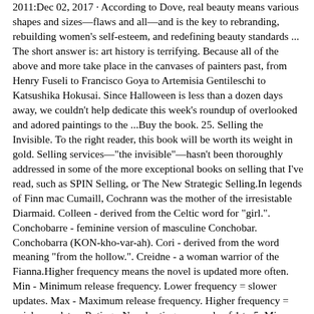2011:Dec 02, 2017 · According to Dove, real beauty means various shapes and sizes—flaws and all—and is the key to rebranding, rebuilding women's self-esteem, and redefining beauty standards ... The short answer is: art history is terrifying. Because all of the above and more take place in the canvases of painters past, from Henry Fuseli to Francisco Goya to Artemisia Gentileschi to Katsushika Hokusai. Since Halloween is less than a dozen days away, we couldn't help dedicate this week's roundup of overlooked and adored paintings to the ...Buy the book. 25. Selling the Invisible. To the right reader, this book will be worth its weight in gold. Selling services—"the invisible"—hasn't been thoroughly addressed in some of the more exceptional books on selling that I've read, such as SPIN Selling, or The New Strategic Selling.In legends of Finn mac Cumaill, Cochrann was the mother of the irresistable Diarmaid. Colleen - derived from the Celtic word for "girl.". Conchobarre - feminine version of masculine Conchobar. Conchobarra (KON-kho-var-ah). Cori - derived from the word meaning "from the hollow.". Creidne - a woman warrior of the Fianna.Higher frequency means the novel is updated more often. Min - Minimum release frequency. Lower frequency = slower updates. Max - Maximum release frequency. Higher frequency = quicker updates. Rating - Novel rating on a scale of 1 to 5. Min - Minimum rating (1 to 5) Max - Maximum rating (1 to 5) Number of Ratings - The amount of ratings for a novel.Nov 01, 2003 · On the Web, there are now numerous ways to expand your hunt